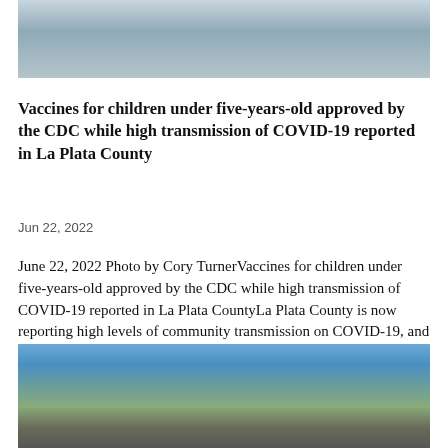[Figure (photo): Top portion of a photo showing children, partially cropped at top of page]
Vaccines for children under five-years-old approved by the CDC while high transmission of COVID-19 reported in La Plata County
Jun 22, 2022
June 22, 2022 Photo by Cory TurnerVaccines for children under five-years-old approved by the CDC while high transmission of COVID-19 reported in La Plata CountyLa Plata County is now reporting high levels of community transmission on COVID-19, and several variants are...
[Figure (photo): Bottom portion of the page showing a snowy outdoor scene with a bare tree and mountains in the background under a blue sky]